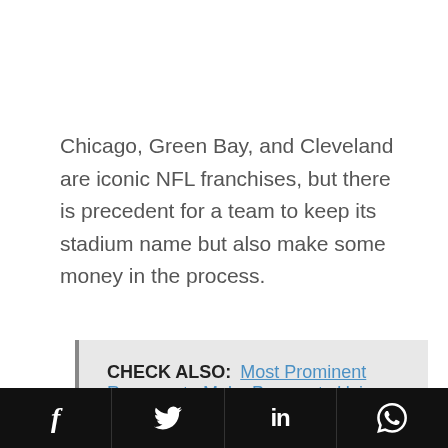Chicago, Green Bay, and Cleveland are iconic NFL franchises, but there is precedent for a team to keep its stadium name but also make some money in the process.
CHECK ALSO:  Most Prominent Reasons to Make Payments Using Cryptocurrencies Nowadays!
Facebook  Twitter  LinkedIn  WhatsApp